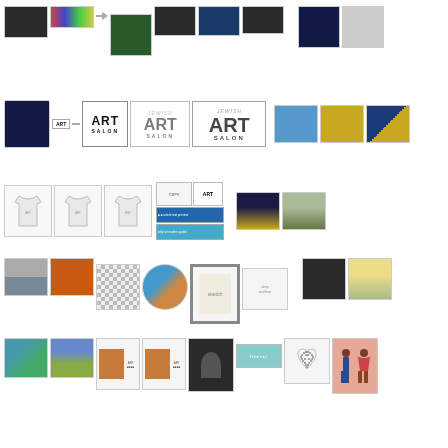[Figure (photo): Grid of thumbnail images showing art salon events, artworks, logos, merchandise, and catalog pages arranged in 5 horizontal rows with connecting lines suggesting a timeline or sequence.]